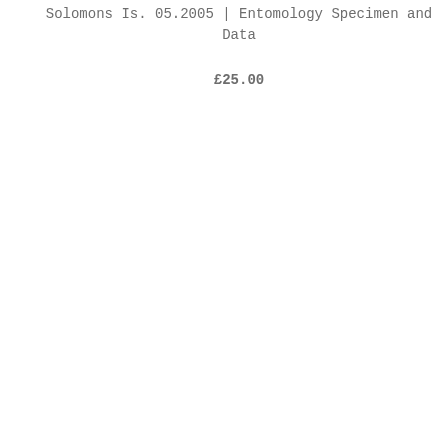Solomons Is. 05.2005 | Entomology Specimen and Data
£25.00